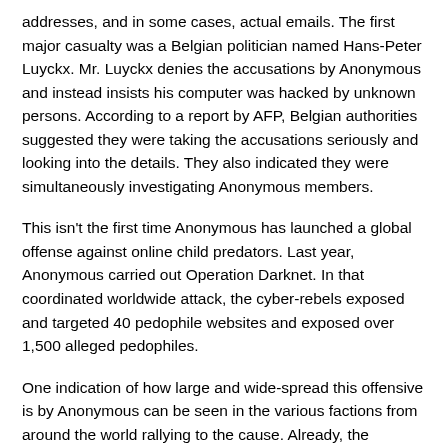addresses, and in some cases, actual emails. The first major casualty was a Belgian politician named Hans-Peter Luyckx. Mr. Luyckx denies the accusations by Anonymous and instead insists his computer was hacked by unknown persons. According to a report by AFP, Belgian authorities suggested they were taking the accusations seriously and looking into the details. They also indicated they were simultaneously investigating Anonymous members.
This isn't the first time Anonymous has launched a global offense against online child predators. Last year, Anonymous carried out Operation Darknet. In that coordinated worldwide attack, the cyber-rebels exposed and targeted 40 pedophile websites and exposed over 1,500 alleged pedophiles.
One indication of how large and wide-spread this offensive is by Anonymous can be seen in the various factions from around the world rallying to the cause. Already, the Anonymous announcements have been translated into French, German, Greek and more as the battle cry spreads to underground Anonymous cells across the